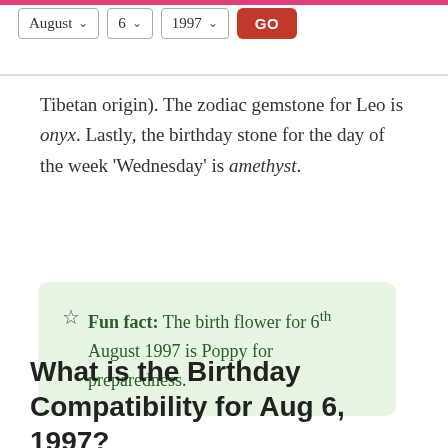[Figure (screenshot): Date selector UI with dropdowns for August, 6, 1997 and a red GO button]
Tibetan origin). The zodiac gemstone for Leo is onyx. Lastly, the birthday stone for the day of the week 'Wednesday' is amethyst.
Fun fact: The birth flower for 6th August 1997 is Poppy for preparedness.
What is the Birthday Compatibility for Aug 6, 1997?